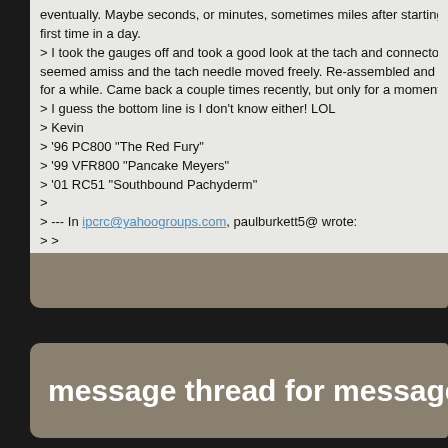eventually. Maybe seconds, or minutes, sometimes miles after starting for the first time in a day.
> I took the gauges off and took a good look at the tach and connectors. Nothing seemed amiss and the tach needle moved freely. Re-assembled and it worked fine for a while. Came back a couple times recently, but only for a moment e
> I guess the bottom line is I don't know either! LOL
> Kevin
> '96 PC800 "The Red Fury"
> '99 VFR800 "Pancake Meyers"
> '01 RC51 "Southbound Pachyderm"
>
> --- In ipcrc@yahoogroups.com, paulburkett5@ wrote:
> >
> > Hi everyone. Noticed today, for some reason, my tachometer quit wo previous owner changed the instrument gauge set 3 years ago(speedom and tach) Looks like I may have a recurring problem. The bike ran fine th Can someone help me check the tach with what meter and how, and do operate bike with out tach. Probably stupid question, but I had to ask. Th all the world of non conformist bikers, Tokyo, the new Milwaukee! Paul B
> >
>
message thread for message #97842